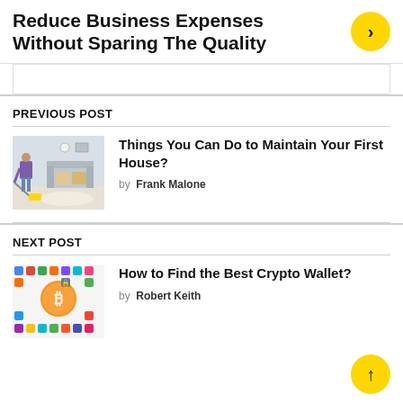Reduce Business Expenses Without Sparing The Quality
PREVIOUS POST
[Figure (photo): Person in purple outfit vacuuming a living room floor with a yellow vacuum cleaner]
Things You Can Do to Maintain Your First House?
by Frank Malone
NEXT POST
[Figure (illustration): Best Crypto Wallets infographic with Bitcoin coin and various cryptocurrency app icons]
How to Find the Best Crypto Wallet?
by Robert Keith